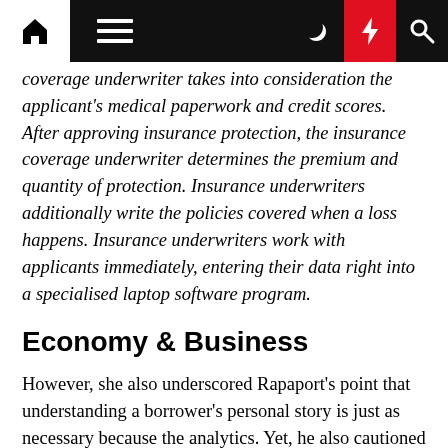[Navigation bar with home, menu, moon, lightning, search icons]
coverage underwriter takes into consideration the applicant's medical paperwork and credit scores. After approving insurance protection, the insurance coverage underwriter determines the premium and quantity of protection. Insurance underwriters additionally write the policies covered when a loss happens. Insurance underwriters work with applicants immediately, entering their data right into a specialised laptop software program.
Economy & Business
However, she also underscored Rapaport's point that understanding a borrower's personal story is just as necessary because the analytics. Yet, he also cautioned that knowledge and artificial intelligence often don't tell the entire story, especially for underserved debtors where many other